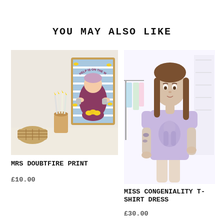YOU MAY ALSO LIKE
[Figure (photo): Photo of Mrs Doubtfire art print in a wooden frame on a light surface, with pencils and a wicker basket beside it. The print shows an illustrated Mrs Doubtfire character with the text 'Help is on the way dear!' surrounded by lemons on a blue striped background.]
MRS DOUBTFIRE PRINT
£10.00
[Figure (photo): Photo of a woman with long brown hair and tattoos wearing a lavender/lilac t-shirt dress with an illustrated female face and text on it (Miss Congeniality design), standing in a bright shop/studio setting.]
MISS CONGENIALITY T-SHIRT DRESS
£30.00